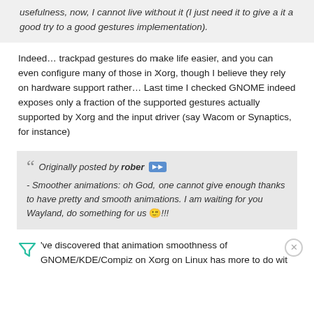usefulness, now, I cannot live without it (I just need it to give a it a good try to a good gestures implementation).
Indeed… trackpad gestures do make life easier, and you can even configure many of those in Xorg, though I believe they rely on hardware support rather… Last time I checked GNOME indeed exposes only a fraction of the supported gestures actually supported by Xorg and the input driver (say Wacom or Synaptics, for instance)
Originally posted by rober
- Smoother animations: oh God, one cannot give enough thanks to have pretty and smooth animations. I am waiting for you Wayland, do something for us 🙂!!!
I've discovered that animation smoothness of GNOME/KDE/Compiz on Xorg on Linux has more to do wit